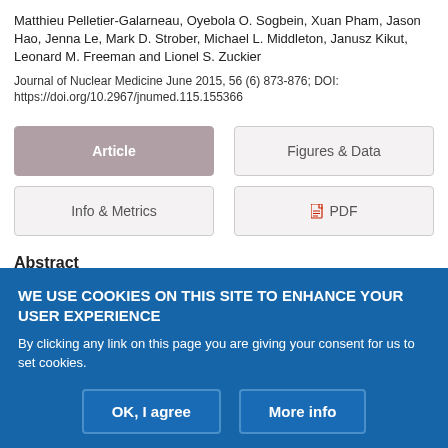Matthieu Pelletier-Galarneau, Oyebola O. Sogbein, Xuan Pham, Jason Hao, Jenna Le, Mark D. Strober, Michael L. Middleton, Janusz Kikut, Leonard M. Freeman and Lionel S. Zuckier
Journal of Nuclear Medicine June 2015, 56 (6) 873-876; DOI: https://doi.org/10.2967/jnumed.115.155366
Article
Figures & Data
Info & Metrics
PDF
Abstract
WE USE COOKIES ON THIS SITE TO ENHANCE YOUR USER EXPERIENCE
By clicking any link on this page you are giving your consent for us to set cookies.
OK, I agree
More info